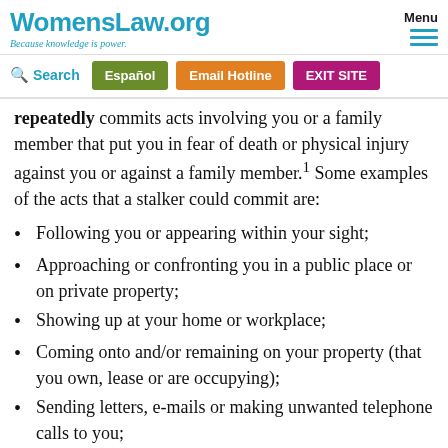WomensLaw.org — Because knowledge is power.
repeatedly commits acts involving you or a family member that put you in fear of death or physical injury against you or against a family member.¹ Some examples of the acts that a stalker could commit are:
Following you or appearing within your sight;
Approaching or confronting you in a public place or on private property;
Showing up at your home or workplace;
Coming onto and/or remaining on your property (that you own, lease or are occupying);
Sending letters, e-mails or making unwanted telephone calls to you;